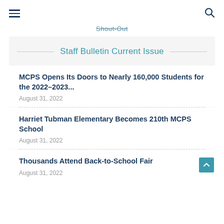≡  🔍
Shout-Out
Staff Bulletin Current Issue
MCPS Opens Its Doors to Nearly 160,000 Students for the 2022–2023...
August 31, 2022
Harriet Tubman Elementary Becomes 210th MCPS School
August 31, 2022
Thousands Attend Back-to-School Fair
August 31, 2022